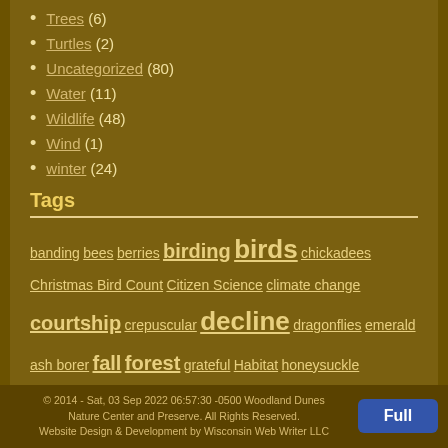Trees (6)
Turtles (2)
Uncategorized (80)
Water (11)
Wildlife (48)
Wind (1)
winter (24)
Tags
banding bees berries birding birds chickadees Christmas Bird Count Citizen Science climate change courtship crepuscular decline dragonflies emerald ash borer fall forest grateful Habitat honeysuckle insects Invasive invasives Invasive Species Lake Michigan marsh migration native nature nest nesting osprey pollinators restoration seeds singing snow soil spring Tracks trees water Wetland wildlife winter woodcock
© 2014 - Sat, 03 Sep 2022 06:57:30 -0500 Woodland Dunes Nature Center and Preserve. All Rights Reserved. Website Design & Development by Wisconsin Web Writer LLC